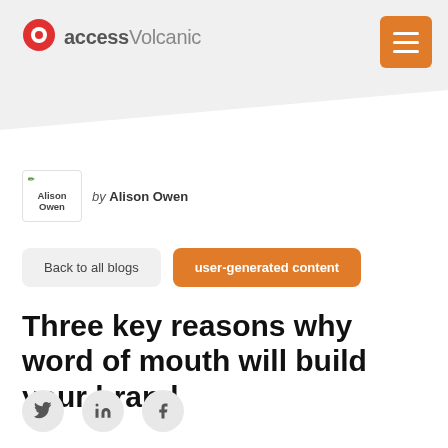access Volcanic
[Figure (logo): Alison Owen author badge with pencil/leaf icon]
by Alison Owen
Back to all blogs
user-generated content
Three key reasons why word of mouth will build your brand
[Figure (other): Social share icons: Twitter, LinkedIn, Facebook]